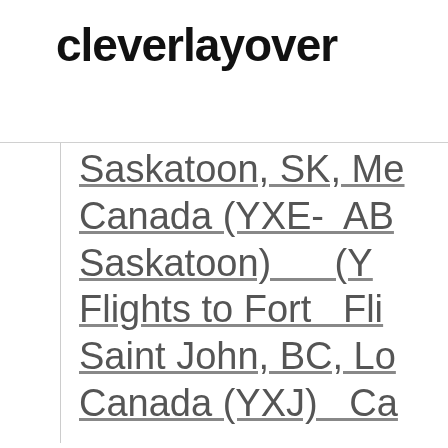cleverlayover
Saskatoon, SK, Me Canada (YXE- AB Saskatoon) (Y Flights to Fort Fli Saint John, BC, Lo Canada (YXJ) Ca